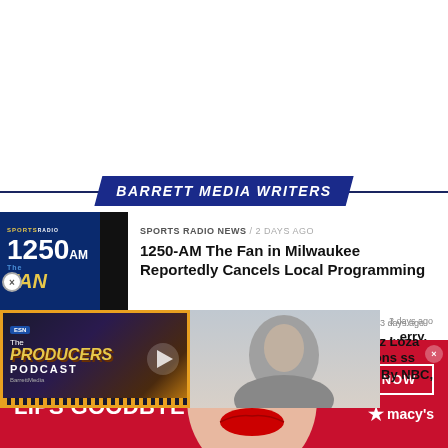[Figure (screenshot): Top white space area of a webpage]
BARRETT MEDIA WRITERS
SPORTS RADIO NEWS / 2 days ago
1250-AM The Fan in Milwaukee Reportedly Cancels Local Programming
[Figure (screenshot): The Producers Podcast logo overlay with a person's photo]
3 days ago
...erry, Liz Loza Additions ...ss Moves By NBC, ESPN
[Figure (advertisement): Macy's advertisement: KISS BORING LIPS GOODBYE with SHOP NOW button and Macy's star logo]